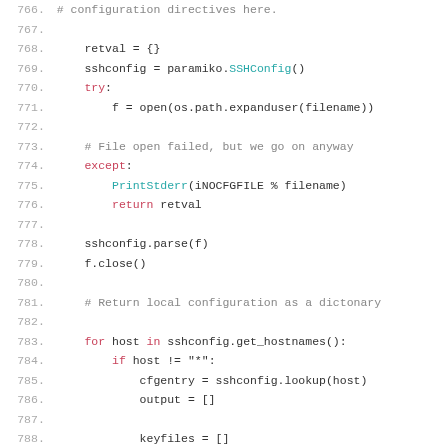Code listing lines 766-791: Python SSH configuration parsing code